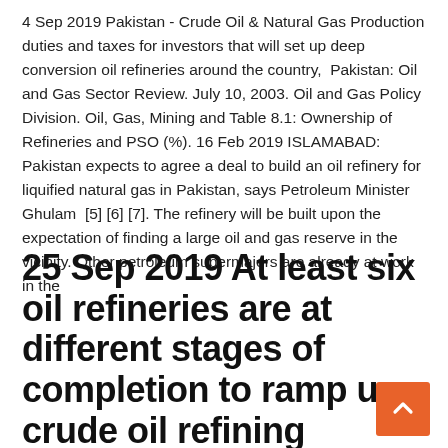4 Sep 2019 Pakistan - Crude Oil & Natural Gas Production duties and taxes for investors that will set up deep conversion oil refineries around the country,  Pakistan: Oil and Gas Sector Review. July 10, 2003. Oil and Gas Policy Division. Oil, Gas, Mining and Table 8.1: Ownership of Refineries and PSO (%). 16 Feb 2019 ISLAMABAD: Pakistan expects to agree a deal to build an oil refinery for liquified natural gas in Pakistan, says Petroleum Minister Ghulam  [5] [6] [7]. The refinery will be built upon the expectation of finding a large oil and gas reserve in the vicinity. Other petroleum supermajors are already at work in the
25 Sep 2019 At least six oil refineries are at different stages of completion to ramp up crude oil refining capacity in Pakistan by